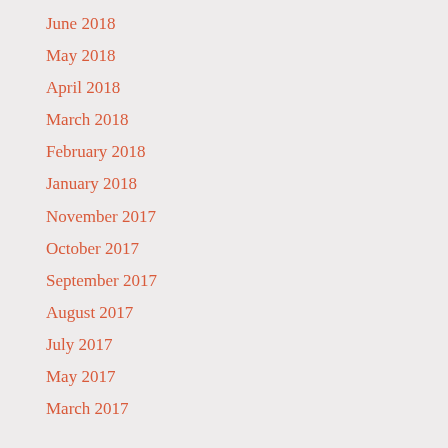June 2018
May 2018
April 2018
March 2018
February 2018
January 2018
November 2017
October 2017
September 2017
August 2017
July 2017
May 2017
March 2017